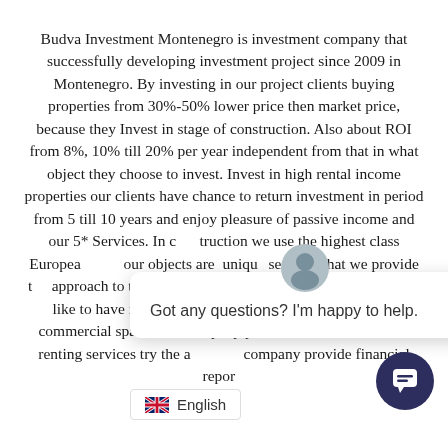Budva Investment Montenegro is investment company that successfully developing investment project since 2009 in Montenegro. By investing in our project clients buying properties from 30%-50% lower price then market price, because they Invest in stage of construction. Also about ROI from 8%, 10% till 20% per year independent from that in what object they choose to invest. Invest in high rental income properties our clients have chance to return investment in period from 5 till 10 years and enjoy pleasure of passive income and our 5* Services. In construction we use the highest class European materials and our objects are unique services that we provide approach to the taste of our clients for interior design they would like to have in own apartment. For all apartments and commercial spaces our company provide maintenance hotel renting services try the available company provide financial reports
[Figure (screenshot): Chat popup overlay with avatar icon, close button (×), and text 'Got any questions? I'm happy to help.']
[Figure (screenshot): Round dark blue chat button in bottom right corner]
[Figure (screenshot): Language selector bar showing UK flag and 'English' text]